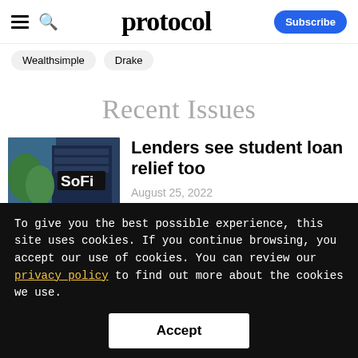protocol
Wealthsimple
Drake
Recent Issues
[Figure (photo): Photo of SoFi building sign with trees in background]
Lenders see student loan relief too
August 25, 2022
To give you the best possible experience, this site uses cookies. If you continue browsing, you accept our use of cookies. You can review our privacy policy to find out more about the cookies we use.
Accept